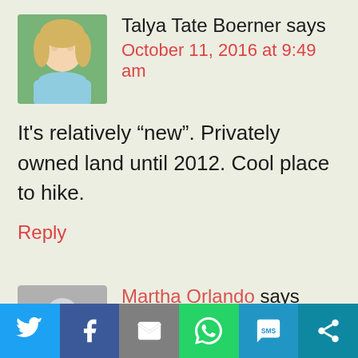[Figure (photo): Profile photo of Talya Tate Boerner, a woman with blonde hair wearing a light blue top, outdoors with green background]
Talya Tate Boerner says
October 11, 2016 at 9:49 am
It’s relatively “new”. Privately owned land until 2012. Cool place to hike.
Reply
[Figure (illustration): Generic grey avatar silhouette for Martha Orlando]
Martha Orlando says
October 11, 2016 at 3:25 pm
[Figure (infographic): Social sharing bar with Twitter, Facebook, Email, WhatsApp, SMS, and More buttons]